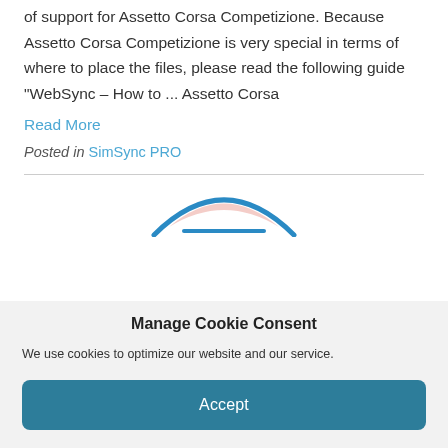of support for Assetto Corsa Competizione. Because Assetto Corsa Competizione is very special in terms of where to place the files, please read the following guide "WebSync – How to ... Assetto Corsa
Read More
Posted in SimSync PRO
[Figure (logo): Partial logo icon visible — blue arc/dome shape with a horizontal line, cropped at bottom of content area]
Manage Cookie Consent
We use cookies to optimize our website and our service.
Accept